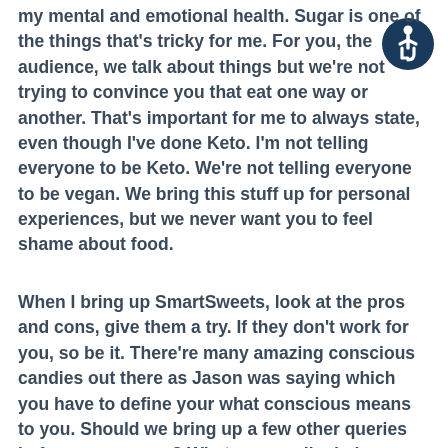my mental and emotional health. Sugar is one of the things that's tricky for me. For you, the audience, we talk about things but we're not trying to convince you that eat one way or another. That's important for me to always state, even though I've done Keto. I'm not telling everyone to be Keto. We're not telling everyone to be vegan. We bring this stuff up for personal experiences, but we never want you to feel shame about food.
When I bring up SmartSweets, look at the pros and cons, give them a try. If they don't work for you, so be it. There're many amazing conscious candies out there as Jason was saying which you have to define your what conscious means to you. Should we bring up a few other queries before we wrap up? What we usually do is a brand shout out something funny, something serious, something interesting. This was a new one for us. I don't know what this
[Figure (logo): Accessibility icon: circular dark blue button with white wheelchair user symbol]